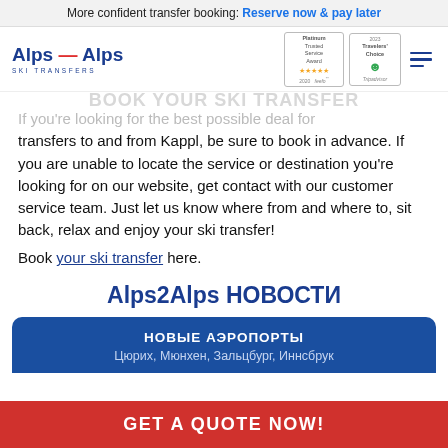More confident transfer booking: Reserve now & pay later
[Figure (logo): Alps2Alps Ski Transfers logo with red zigzag, Platinum Trusted Service Award (feelo, 2020), Travellers Choice (Tripadvisor) badge, hamburger menu icon]
transfers to and from Kappl, be sure to book in advance. If you are unable to locate the service or destination you're looking for on our website, get contact with our customer service team. Just let us know where from and where to, sit back, relax and enjoy your ski transfer!
Book your ski transfer here.
Alps2Alps НОВОСТИ
НОВЫЕ АЭРОПОРТЫ
Цюрих, Мюнхен, Зальцбург, Иннсбрук
GET A QUOTE NOW!